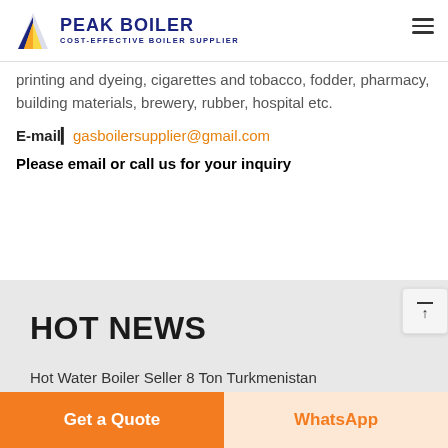PEAK BOILER COST-EFFECTIVE BOILER SUPPLIER
printing and dyeing, cigarettes and tobacco, fodder, pharmacy, building materials, brewery, rubber, hospital etc.
E-mail■gasboilersupplier@gmail.com
Please email or call us for your inquiry
HOT NEWS
Hot Water Boiler Seller 8 Ton Turkmenistan
Get a Quote
WhatsApp